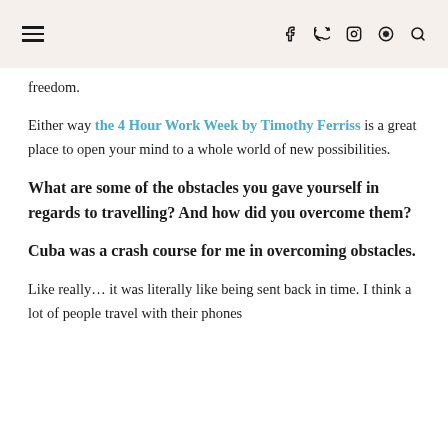≡   f  y  ⊙  ⊕  🔍
freedom.
Either way the 4 Hour Work Week by Timothy Ferriss is a great place to open your mind to a whole world of new possibilities.
What are some of the obstacles you gave yourself in regards to travelling? And how did you overcome them?
Cuba was a crash course for me in overcoming obstacles.
Like really… it was literally like being sent back in time. I think a lot of people travel with their phones